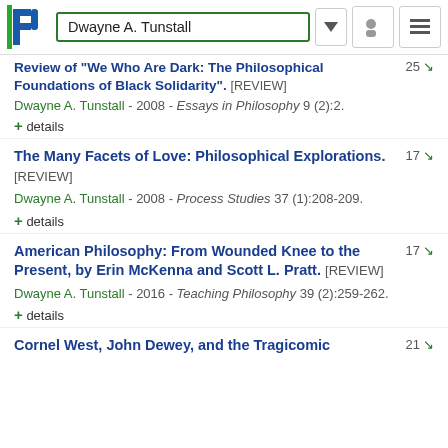Dwayne A. Tunstall
Review of "We Who Are Dark: The Philosophical Foundations of Black Solidarity". [REVIEW]
Dwayne A. Tunstall - 2008 - Essays in Philosophy 9 (2):2.
+ details
The Many Facets of Love: Philosophical Explorations. [REVIEW]
Dwayne A. Tunstall - 2008 - Process Studies 37 (1):208-209.
+ details
American Philosophy: From Wounded Knee to the Present, by Erin McKenna and Scott L. Pratt. [REVIEW]
Dwayne A. Tunstall - 2016 - Teaching Philosophy 39 (2):259-262.
+ details
Cornel West, John Dewey, and the Tragicomic